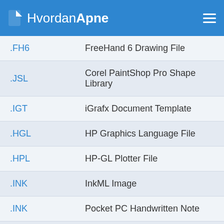HvordanApne
| Extension | Description |
| --- | --- |
| .FH6 | FreeHand 6 Drawing File |
| .JSL | Corel PaintShop Pro Shape Library |
| .IGT | iGrafx Document Template |
| .HGL | HP Graphics Language File |
| .HPL | HP-GL Plotter File |
| .INK | InkML Image |
| .INK | Pocket PC Handwritten Note |
| .HPG | HPGL Plot File |
| .TLC | The Logo Creator File |
| .IMD | Microsoft VisioModeler File |
| .FMV | Frame Vector Metafile |
| .FH7 | FreeHand 7 Drawing File |